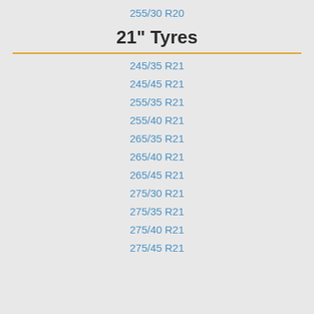255/30 R20
21" Tyres
245/35 R21
245/45 R21
255/35 R21
255/40 R21
265/35 R21
265/40 R21
265/45 R21
275/30 R21
275/35 R21
275/40 R21
275/45 R21